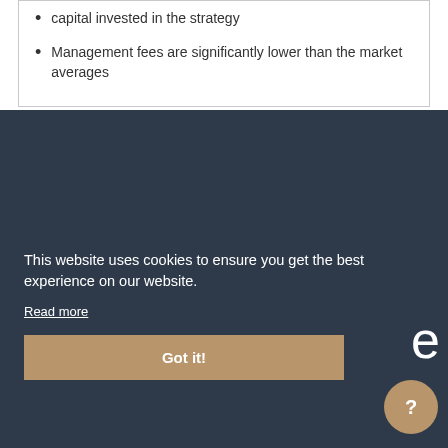capital invested in the strategy
Management fees are significantly lower than the market averages
This website uses cookies to ensure you get the best experience on our website.
Read more
Got it!